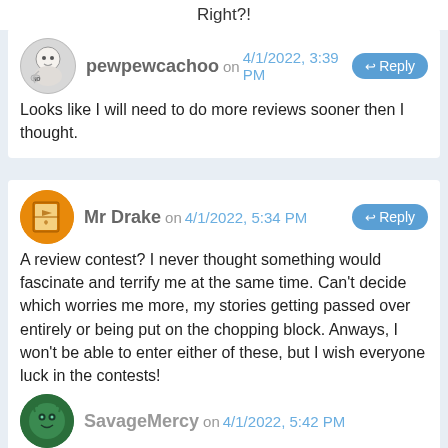Right?!
pewpewcachoo on 4/1/2022, 3:39 PM
Looks like I will need to do more reviews sooner then I thought.
Mr Drake on 4/1/2022, 5:34 PM
A review contest? I never thought something would fascinate and terrify me at the same time. Can't decide which worries me more, my stories getting passed over entirely or being put on the chopping block. Anways, I won't be able to enter either of these, but I wish everyone luck in the contests!
SavageMercy on 4/1/2022, 5:42 PM